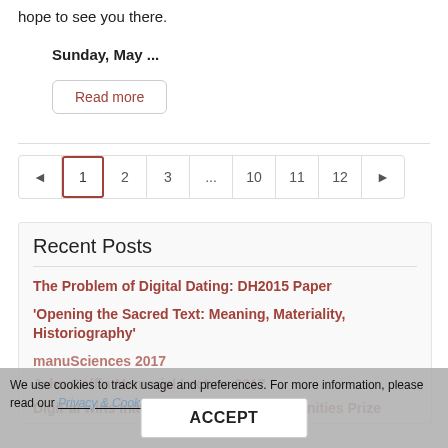hope to see you there.
Sunday, May ...
Read more
◄ 1 2 3 ... 10 11 12 ►
Recent Posts
The Problem of Digital Dating: DH2015 Paper
'Opening the Sacred Text: Meaning, Materiality, Historiography'
manuSciences 2017
John Coffin Memorial Lecture 2017
DigiPal wins Inaugural MAA Digital Humanities Prize
We use cookies to track usage and preferences. For more information, please read our Privacy & Cookie Policy.
ACCEPT